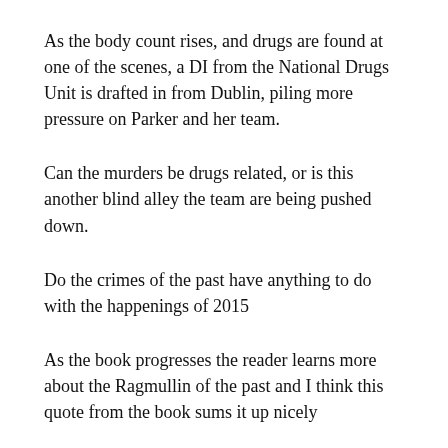As the body count rises, and drugs are found at one of the scenes, a DI from the National Drugs Unit is drafted in from Dublin, piling more pressure on Parker and her team.
Can the murders be drugs related, or is this another blind alley the team are being pushed down.
Do the crimes of the past have anything to do with the happenings of 2015
As the book progresses the reader learns more about the Ragmullin of the past and I think this quote from the book sums it up nicely